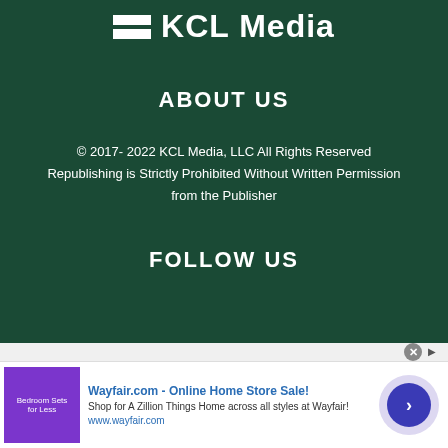[Figure (logo): KCL Media logo with two white horizontal bars and white text 'KCL Media']
ABOUT US
© 2017- 2022 KCL Media, LLC All Rights Reserved Republishing is Strictly Prohibited Without Written Permission from the Publisher
FOLLOW US
Home   Local News   Local Sports   Obituaries   Lifestyle
[Figure (screenshot): Wayfair.com advertisement banner: 'Wayfair.com - Online Home Store Sale! Shop for A Zillion Things Home across all styles at Wayfair! www.wayfair.com' with bedroom furniture image and circular arrow button]